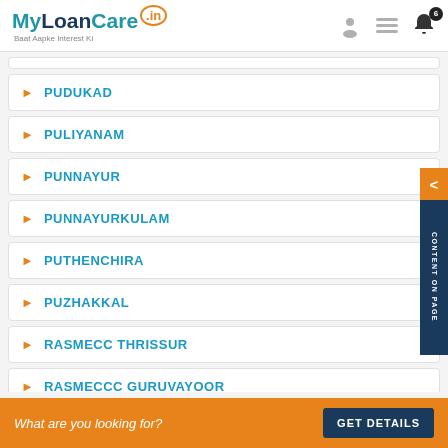MyLoanCare.in - Baat Aapke Interest Ki
PUDUKAD
PULIYANAM
PUNNAYUR
PUNNAYURKULAM
PUTHENCHIRA
PUZHAKKAL
RASMECC THRISSUR
RASMECCC GURUVAYOOR
What are you looking for? GET DETAILS